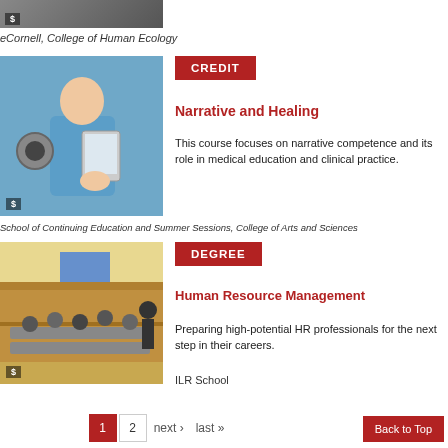[Figure (photo): Partial cropped image of a healthcare-related photo with dollar badge]
eCornell, College of Human Ecology
[Figure (photo): Photo of a nurse or medical professional using a tablet/device, with stethoscope visible, dollar badge in lower left]
CREDIT
Narrative and Healing
This course focuses on narrative competence and its role in medical education and clinical practice.
School of Continuing Education and Summer Sessions, College of Arts and Sciences
[Figure (photo): Photo of a classroom or lecture hall with students and instructor in a discussion setting, dollar badge in lower left]
DEGREE
Human Resource Management
Preparing high-potential HR professionals for the next step in their careers.
ILR School
1  2  next ›  last »  Back to Top